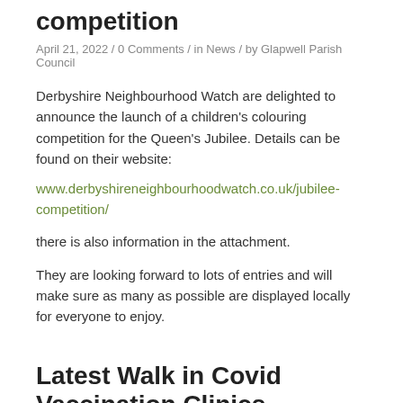competition
April 21, 2022 / 0 Comments / in News / by Glapwell Parish Council
Derbyshire Neighbourhood Watch are delighted to announce the launch of a children's colouring competition for the Queen's Jubilee.  Details can be found on their website:
www.derbyshireneighbourhoodwatch.co.uk/jubilee-competition/
there is also information in the attachment.
They are looking forward to lots of entries and will make sure as many as possible are displayed locally for everyone to enjoy.
Latest Walk in Covid Vaccination Clinics
April 8, 2022 / 0 Comments / in News / by Glapwell Parish Council